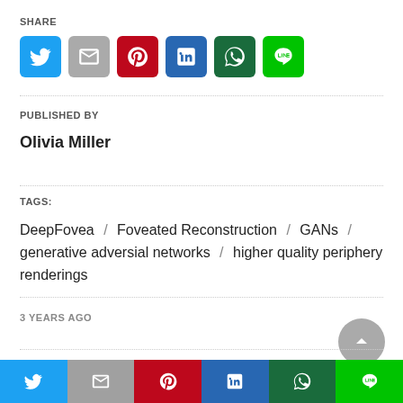SHARE
[Figure (other): Social share icons: Twitter (blue), Gmail (grey), Pinterest (red), LinkedIn (blue), WhatsApp (dark green), Line (green)]
PUBLISHED BY
Olivia Miller
TAGS:
DeepFovea / Foveated Reconstruction / GANs / generative adversial networks / higher quality periphery renderings
3 YEARS AGO
RELATED POST
[Figure (other): Bottom social share bar: Twitter, Gmail/M, Pinterest, LinkedIn, WhatsApp, Line]